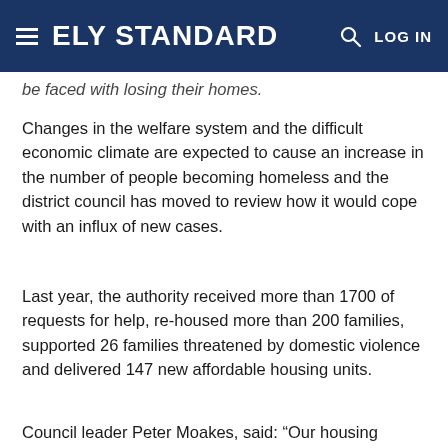ELY STANDARD   LOG IN
be faced with losing their homes.
Changes in the welfare system and the difficult economic climate are expected to cause an increase in the number of people becoming homeless and the district council has moved to review how it would cope with an influx of new cases.
Last year, the authority received more than 1700 of requests for help, re-housed more than 200 families, supported 26 families threatened by domestic violence and delivered 147 new affordable housing units.
Council leader Peter Moakes, said: “Our housing service is a vital department of the council. They work very hard to help many people and families across the district to keep roofs over the heads of those who are